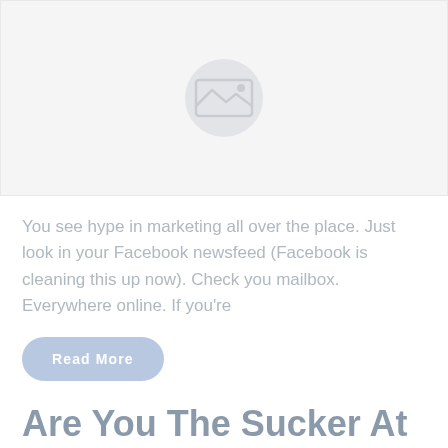[Figure (photo): Image placeholder with a grey circle containing a mountain/landscape icon on a light grey background]
You see hype in marketing all over the place. Just look in your Facebook newsfeed (Facebook is cleaning this up now). Check you mailbox. Everywhere online. If you're
Read More
Are You The Sucker At The Sales And Marketing Table?